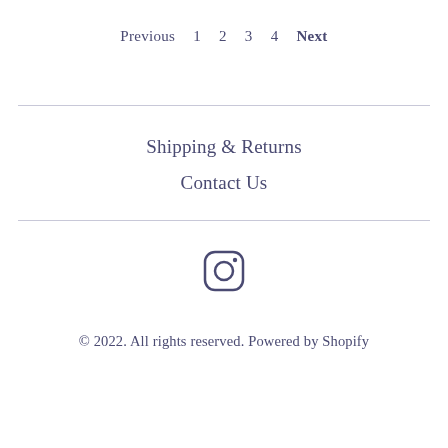Previous 1 2 3 4 Next
Shipping & Returns
Contact Us
[Figure (logo): Instagram icon (rounded square with circle and dot)]
© 2022. All rights reserved. Powered by Shopify